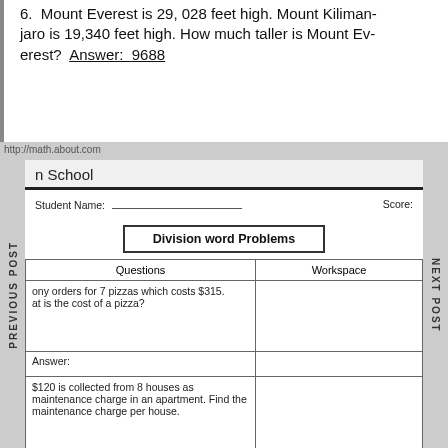6. Mount Everest is 29,028 feet high. Mount Kilimanjaro is 19,340 feet high. How much taller is Mount Everest? Answer: 9688
http://math.about.com
n School
Student Name: _____________________ Score:
Division word Problems
| Questions | Workspace |
| --- | --- |
| ony orders for 7 pizzas which costs $315. at is the cost of a pizza?

Answer: |  |
| $120 is collected from 8 houses as maintenance charge in an apartment. Find the maintenance charge per house. |  |
PREVIOUS POST
NEXT POST